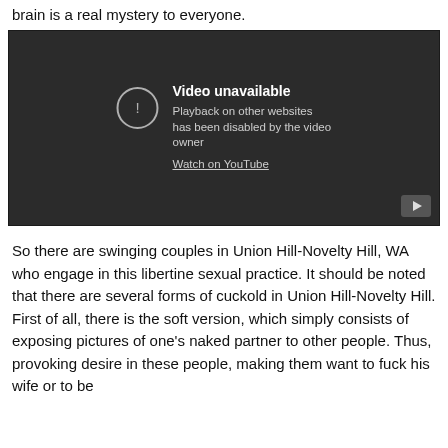brain is a real mystery to everyone.
[Figure (screenshot): Embedded YouTube video player showing 'Video unavailable' error message. Text reads: 'Video unavailable. Playback on other websites has been disabled by the video owner. Watch on YouTube']
So there are swinging couples in Union Hill-Novelty Hill, WA who engage in this libertine sexual practice. It should be noted that there are several forms of cuckold in Union Hill-Novelty Hill. First of all, there is the soft version, which simply consists of exposing pictures of one's naked partner to other people. Thus, provoking desire in these people, making them want to fuck his wife or to be